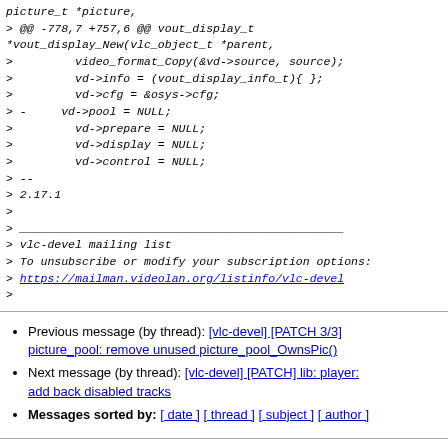picture_t *picture,
> @@ -778,7 +757,6 @@ vout_display_t *vout_display_New(vlc_object_t *parent,
>         video_format_Copy(&vd->source, source);
>         vd->info = (vout_display_info_t){ };
>         vd->cfg = &osys->cfg;
> -     vd->pool = NULL;
>         vd->prepare = NULL;
>         vd->display = NULL;
>         vd->control = NULL;
> --
> 2.17.1
>
> _______________________________________________
> vlc-devel mailing list
> To unsubscribe or modify your subscription options:
> https://mailman.videolan.org/listinfo/vlc-devel
>
Previous message (by thread): [vlc-devel] [PATCH 3/3] picture_pool: remove unused picture_pool_OwnsPic()
Next message (by thread): [vlc-devel] [PATCH] lib: player: add back disabled tracks
Messages sorted by: [ date ] [ thread ] [ subject ] [ author ]
More information about the vlc-devel mailing list